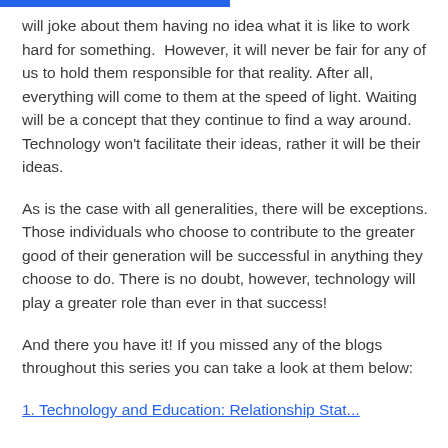will joke about them having no idea what it is like to work hard for something.  However, it will never be fair for any of us to hold them responsible for that reality. After all, everything will come to them at the speed of light. Waiting will be a concept that they continue to find a way around. Technology won't facilitate their ideas, rather it will be their ideas.
As is the case with all generalities, there will be exceptions. Those individuals who choose to contribute to the greater good of their generation will be successful in anything they choose to do. There is no doubt, however, technology will play a greater role than ever in that success!
And there you have it! If you missed any of the blogs throughout this series you can take a look at them below:
1. Technology and Education: Relationship Stat...